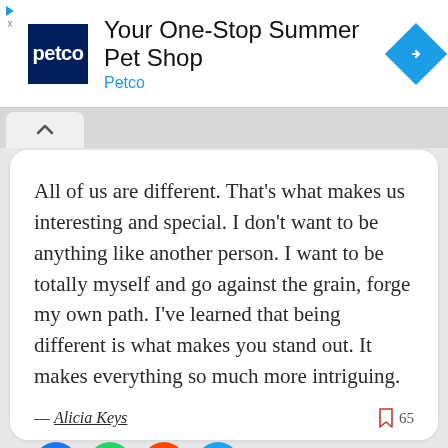[Figure (logo): Petco advertisement banner with Petco logo, headline 'Your One-Stop Summer Pet Shop', and a blue navigation diamond icon]
All of us are different. That's what makes us interesting and special. I don't want to be anything like another person. I want to be totally myself and go against the grain, forge my own path. I've learned that being different is what makes you stand out. It makes everything so much more intriguing.
— Alicia Keys
[Figure (infographic): Social share buttons: Facebook, WhatsApp, Reddit, Twitter]